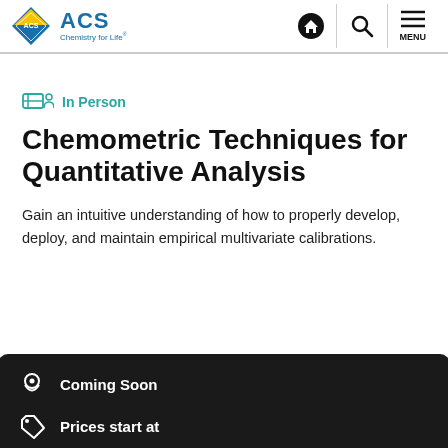ACS Chemistry for Life
In Person
Chemometric Techniques for Quantitative Analysis
Gain an intuitive understanding of how to properly develop, deploy, and maintain empirical multivariate calibrations.
Coming Soon
Prices start at